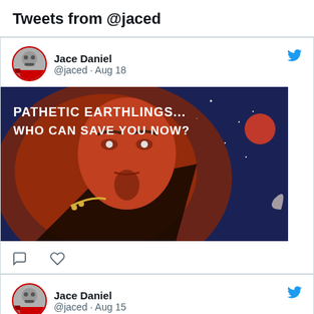Tweets from @jaced
Jace Daniel @jaced · Aug 18
[Figure (illustration): Movie poster artwork showing a bald villain with a goatee and dramatic expression against a space background. Text reads: PATHETIC EARTHLINGS... WHO CAN SAVE YOU NOW?]
Jace Daniel @jaced · Aug 15
Released on this day in 1979. Led Zeppelin - In Through the Out Door